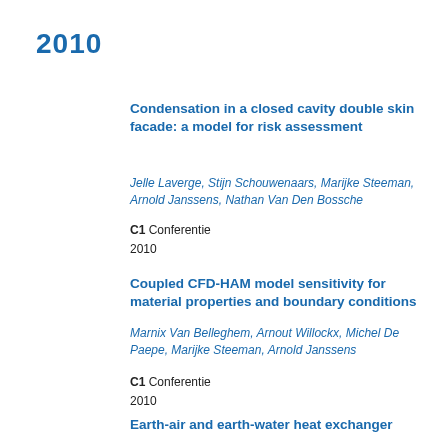2010
Condensation in a closed cavity double skin facade: a model for risk assessment
Jelle Laverge, Stijn Schouwenaars, Marijke Steeman, Arnold Janssens, Nathan Van Den Bossche
C1 Conferentie
2010
Coupled CFD-HAM model sensitivity for material properties and boundary conditions
Marnix Van Belleghem, Arnout Willockx, Michel De Paepe, Marijke Steeman, Arnold Janssens
C1 Conferentie
2010
Earth-air and earth-water heat exchanger